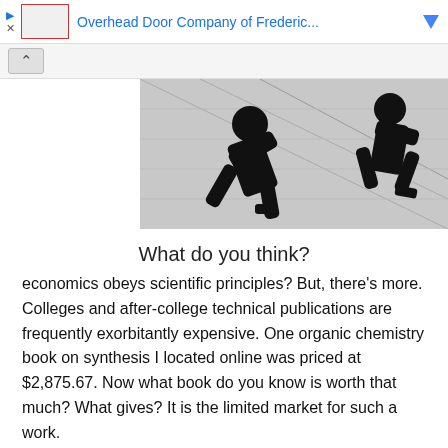[Figure (screenshot): Ad bar showing Overhead Door Company of Frederic... with thumbnail, play button, close button, and blue arrow]
[Figure (photo): Banner image with black and white silhouette illustration showing people falling or jumping against a city/grid background]
What do you think?
economics obeys scientific principles? But, there’s more. Colleges and after-college technical publications are frequently exorbitantly expensive. One organic chemistry book on synthesis I located online was priced at $2,875.67. Now what book do you know is worth that much? What gives? It is the limited market for such a work.
Only a relative handful of doctors will read a